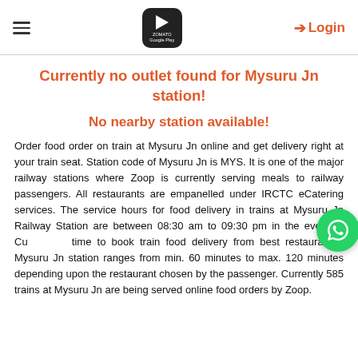≡  [Google Play logo]  ➔ Login
Currently no outlet found for Mysuru Jn station!
No nearby station available!
Order food order on train at Mysuru Jn online and get delivery right at your train seat. Station code of Mysuru Jn is MYS. It is one of the major railway stations where Zoop is currently serving meals to railway passengers. All restaurants are empanelled under IRCTC eCatering services. The service hours for food delivery in trains at Mysuru Jn Railway Station are between 08:30 am to 09:30 pm in the evening. Cut time to book train food delivery from best restaurants at Mysuru Jn station ranges from min. 60 minutes to max. 120 minutes depending upon the restaurant chosen by the passenger. Currently 585 trains at Mysuru Jn are being served online food orders by Zoop.